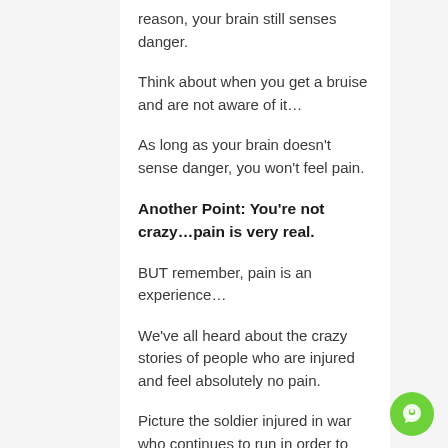reason, your brain still senses danger.
Think about when you get a bruise and are not aware of it…
As long as your brain doesn't sense danger, you won't feel pain.
Another Point: You're not crazy…pain is very real.
BUT remember, pain is an experience…
We've all heard about the crazy stories of people who are injured and feel absolutely no pain.
Picture the soldier injured in war who continues to run in order to save his life